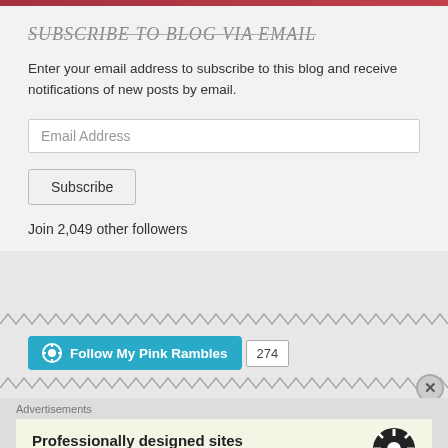SUBSCRIBE TO BLOG VIA EMAIL
Enter your email address to subscribe to this blog and receive notifications of new posts by email.
Email Address
Subscribe
Join 2,049 other followers
[Figure (other): Zigzag/wavy decorative divider line]
[Figure (other): WordPress Follow My Pink Rambles button with follower count 274]
[Figure (other): Zigzag/wavy decorative divider line]
Advertisements
Professionally designed sites in less than a week
[Figure (logo): WordPress logo circle icon]